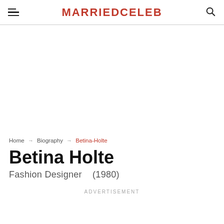MARRIEDCELEB
Home → Biography → Betina-Holte
Betina Holte
Fashion Designer    (1980)
ADVERTISEMENT